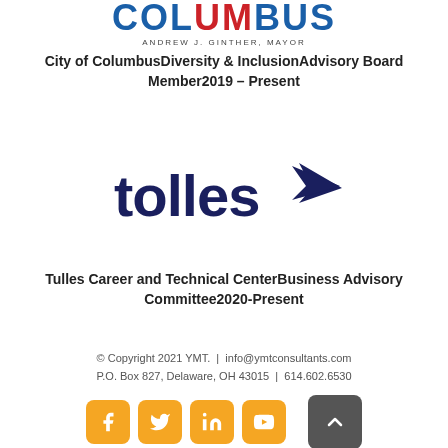[Figure (logo): Columbus city logo with red and blue stylized text and 'ANDREW J. GINTHER, MAYOR' subtitle]
City of ColumbusDiversity & InclusionAdvisory Board Member2019 – Present
[Figure (logo): Tolles career and technical center logo in dark navy blue with arrow icon]
Tulles Career and Technical CenterBusiness Advisory Committee2020-Present
© Copyright 2021 YMT.  |  info@ymtconsultants.com
P.O. Box 827, Delaware, OH 43015  |  614.602.6530